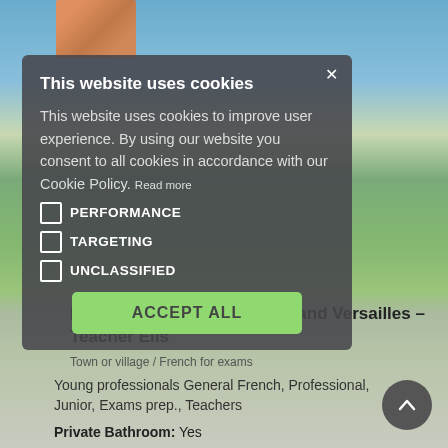[Figure (screenshot): Background photo of a French landscape with a chateau near water, blue sky, and green trees, with a small thumbnail image of a person in the top-left area.]
This website uses cookies
This website uses cookies to improve user experience. By using our website you consent to all cookies in accordance with our Cookie Policy. Read more
PERFORMANCE
TARGETING
UNCLASSIFIED
ACCEPT ALL
Normandy, Île-de-France, Grand Versailles – Teacher Elis
Town or village / French for exams
Young professionals General French, Professional, Junior, Exams prep., Teachers
Private Bathroom: Yes